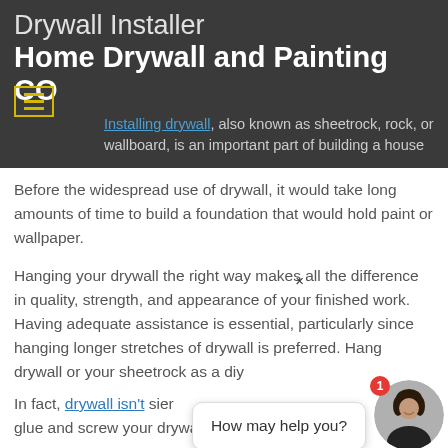Drywall Installer
Home Drywall and Painting CO
Installing drywall, also known as sheetrock, rock, or wallboard, is an important part of building a house
Before the widespread use of drywall, it would take long amounts of time to build a foundation that would hold paint or wallpaper.
Hanging your drywall the right way makes all the difference in quality, strength, and appearance of your finished work. Having adequate assistance is essential, particularly since hanging longer stretches of drywall is preferred. Hang drywall or your sheetrock as a diy …
In fact, drywall isn't … sier … glue and screw your drywall down and cut it to your
[Figure (screenshot): Chat popup widget showing 'How may help you?' message with avatar of a woman and notification badge showing 1]